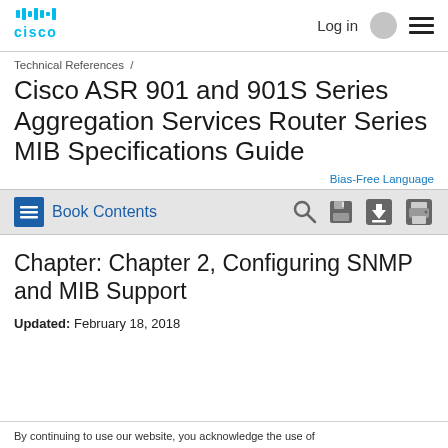Cisco | Log in
Technical References /
Cisco ASR 901 and 901S Series Aggregation Services Router Series MIB Specifications Guide
Bias-Free Language
Book Contents
Chapter: Chapter 2, Configuring SNMP and MIB Support
Updated: February 18, 2018